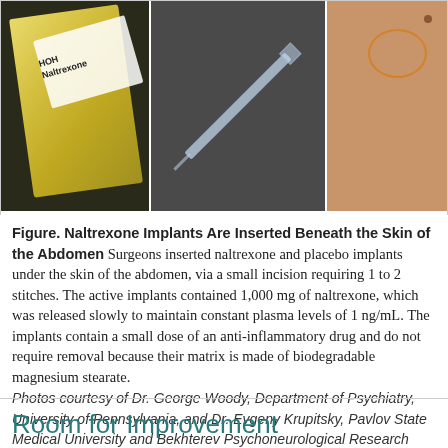[Figure (photo): Three photos: a yellow Naltrexone implant box, a syringe/needle, and skin with a circled injection site on the abdomen.]
Figure. Naltrexone Implants Are Inserted Beneath the Skin of the Abdomen Surgeons inserted naltrexone and placebo implants under the skin of the abdomen, via a small incision requiring 1 to 2 stitches. The active implants contained 1,000 mg of naltrexone, which was released slowly to maintain constant plasma levels of 1 ng/mL. The implants contain a small dose of an anti-inflammatory drug and do not require removal because their matrix is made of biodegradable magnesium stearate. Photos courtesy of Dr. George Woody, Department of Psychiatry, University of Pennsylvania, and Dr. Evgeny Krupitsky, Pavlov State Medical University and Bekhterev Psychoneurological Research Inst. St. Petersburg, Russian Federation.
Room for Improvement